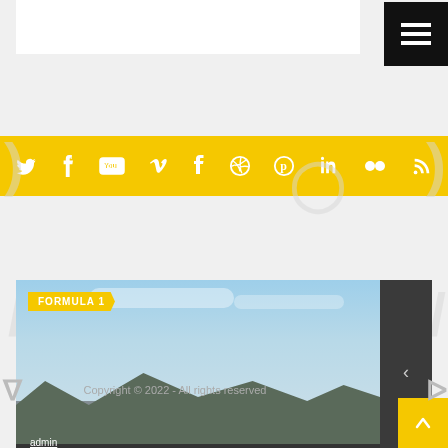[Figure (screenshot): Website header with white bar, black hamburger menu button]
[Figure (infographic): Yellow social media icon bar with Twitter, Facebook, YouTube, Vimeo, Tumblr, Dribbble, Pinterest, LinkedIn, Flickr, RSS icons]
[Figure (photo): Formula 1 article card showing a race track grandstand with cloudy sky, tagged FORMULA 1, by admin, titled Hamilton: Vettel's F1 Aston Martin move 'ideal ...' with dark nav panel]
Copyright © 2022 - All rights reserved